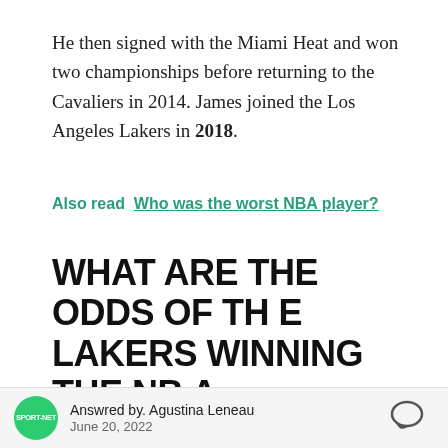He then signed with the Miami Heat and won two championships before returning to the Cavaliers in 2014. James joined the Los Angeles Lakers in 2018.
Also read  Who was the worst NBA player?
WHAT ARE THE ODDS OF THE LAKERS WINNING THE NBA CHAMPIONSHIP?
NBA championship odds 2022
Answred by. Agustina Leneau  June 20, 2022